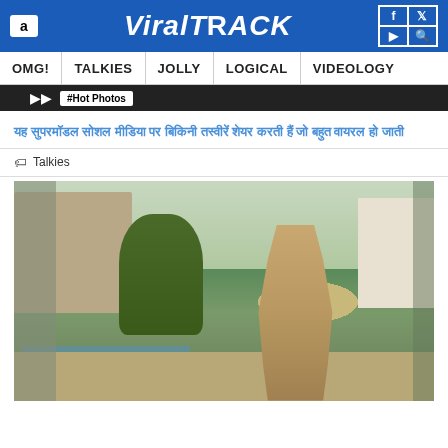ViralTrack — OMG! | TALKIES | JOLLY | LOGICAL | VIDEOLOGY
यह सुपरमॉडल सोशल मीडिया पर बिकिनी तस्वीरें शेयर करती हैं जो बहुत वायरल हो जाती
Talkies
[Figure (photo): A woman in a bikini posing outdoors at a luxury villa with a pool, trees, and white buildings in the background]